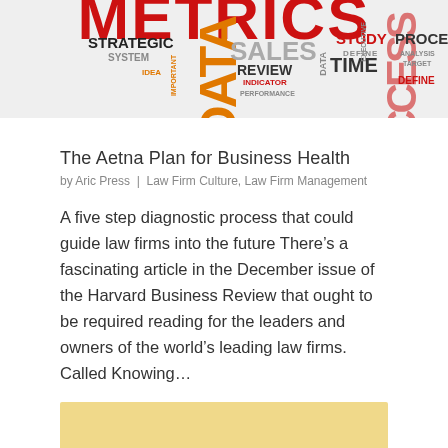[Figure (infographic): Word cloud / metrics banner image with words like STRATEGIC, DATA, SALES, REVIEW, STUDY, TIME, PROCESS, SUCCESS, DEFINE, INDICATOR, PERFORMANCE in red, orange, gray and black on light gray background. Large red text 'METRICS' partially visible at top.]
The Aetna Plan for Business Health
by Aric Press  |  Law Firm Culture, Law Firm Management
A five step diagnostic process that could guide law firms into the future There’s a fascinating article in the December issue of the Harvard Business Review that ought to be required reading for the leaders and owners of the world’s leading law firms. Called Knowing…
[Figure (photo): Bottom partial image with golden/yellow background, partially visible at the bottom of the page.]